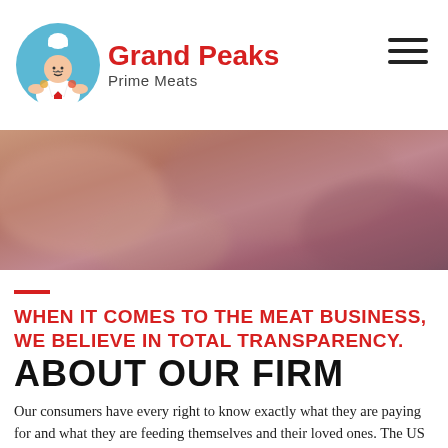[Figure (logo): Grand Peaks Prime Meats logo with chef illustration, company name in red bold text and subtitle 'Prime Meats']
[Figure (photo): Hero banner photograph with warm reddish-brown blurred meat texture background]
WHEN IT COMES TO THE MEAT BUSINESS, WE BELIEVE IN TOTAL TRANSPARENCY.
ABOUT OUR FIRM
Our consumers have every right to know exactly what they are paying for and what they are feeding themselves and their loved ones. The US Department of Agriculture (USDA) has very strict guidelines for inspecting meat. As a USDA inspected meat processing plant, we are here to put all your